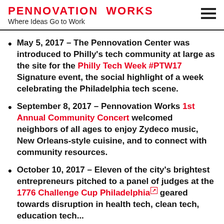PENNOVATION WORKS
Where Ideas Go to Work
May 5, 2017 – The Pennovation Center was introduced to Philly's tech community at large as the site for the Philly Tech Week #PTW17 Signature event, the social highlight of a week celebrating the Philadelphia tech scene.
September 8, 2017 – Pennovation Works 1st Annual Community Concert welcomed neighbors of all ages to enjoy Zydeco music, New Orleans-style cuisine, and to connect with community resources.
October 10, 2017 – Eleven of the city's brightest entrepreneurs pitched to a panel of judges at the 1776 Challenge Cup Philadelphia geared towards disruption in health tech, clean tech, education tech...